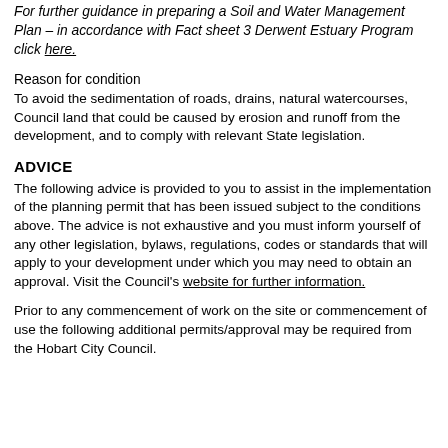For further guidance in preparing a Soil and Water Management Plan – in accordance with Fact sheet 3 Derwent Estuary Program click here.
Reason for condition
To avoid the sedimentation of roads, drains, natural watercourses, Council land that could be caused by erosion and runoff from the development, and to comply with relevant State legislation.
ADVICE
The following advice is provided to you to assist in the implementation of the planning permit that has been issued subject to the conditions above. The advice is not exhaustive and you must inform yourself of any other legislation, bylaws, regulations, codes or standards that will apply to your development under which you may need to obtain an approval. Visit the Council's website for further information.
Prior to any commencement of work on the site or commencement of use the following additional permits/approval may be required from the Hobart City Council.